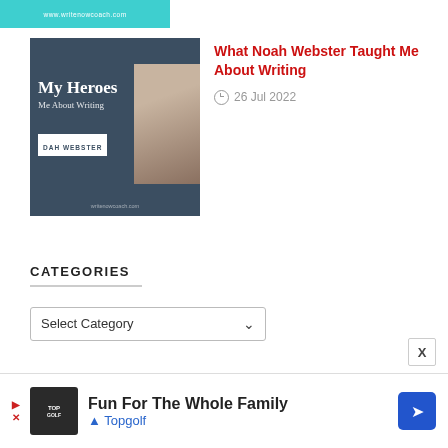[Figure (photo): Partial top of a book cover image with teal background showing website URL www.writenowcoach.com]
[Figure (photo): Book cover thumbnail with dark navy background showing 'My Heroes Me About Writing' text and 'DAH WEBSTER' badge, with a partial photo of a person]
What Noah Webster Taught Me About Writing
26 Jul 2022
CATEGORIES
Select Category
[Figure (screenshot): Advertisement banner for Topgolf: Fun For The Whole Family]